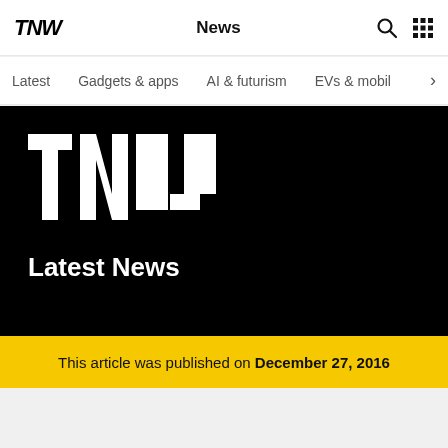TNW  News
Latest
Gadgets & apps
AI & futurism
EVs & mobil
[Figure (logo): TNW large white logo on black background with 'Latest News' subtitle]
This article was published on December 27, 2016